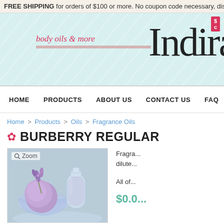FREE SHIPPING for orders of $100 or more. No coupon code necessary, disco...
[Figure (logo): Website header with teal diagonal stripe background, tagline 'body oils & more' in red italic, and brand name 'Indira' in large script font]
HOME  PRODUCTS  ABOUT US  CONTACT US  FAQ  STORE ...
Home > Products > Oils > Fragrance Oils
BURBERRY REGULAR
[Figure (photo): Product photo showing purple lavender flowers, a round purple bath bomb in a glass bowl, and a clear glass bottle on a light blue background. 'Zoom' label with magnifying glass icon in top left.]
Fragrance oil that can be diluted...
All of...
$0.0...